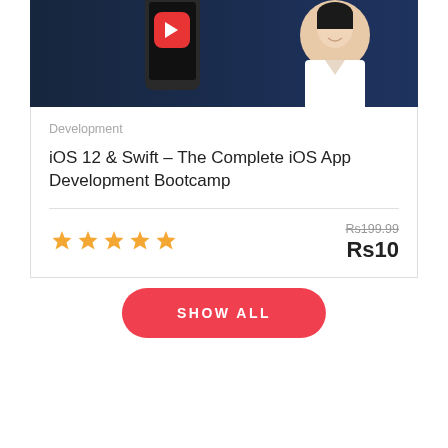[Figure (screenshot): Course card image showing a smartphone with a red app icon and a woman smiling, on a dark blue background]
Development
iOS 12 & Swift – The Complete iOS App Development Bootcamp
[Figure (other): Five gold star rating icons]
Rs199.99 (strikethrough) Rs10
SHOW ALL